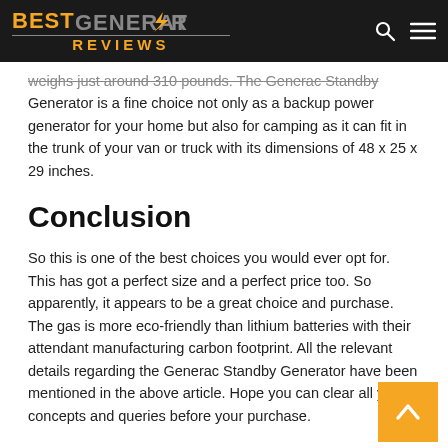BEST GENERATOR REVIEWS
weighs just around 310 pounds. The Generac Standby Generator is a fine choice not only as a backup power generator for your home but also for camping as it can fit in the trunk of your van or truck with its dimensions of 48 x 25 x 29 inches.
Conclusion
So this is one of the best choices you would ever opt for. This has got a perfect size and a perfect price too. So apparently, it appears to be a great choice and purchase. The gas is more eco-friendly than lithium batteries with their attendant manufacturing carbon footprint. All the relevant details regarding the Generac Standby Generator have been mentioned in the above article. Hope you can clear all your concepts and queries before your purchase.